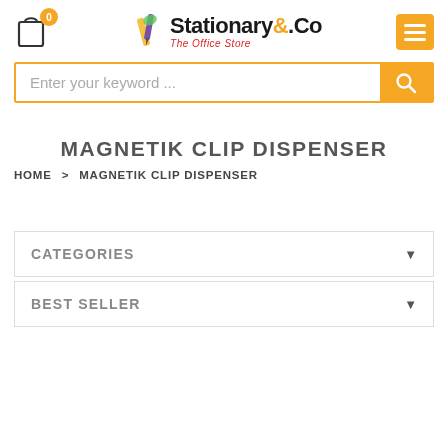[Figure (logo): Stationary & Co - The Office Store logo with shopping cart icon and hamburger menu]
Enter your keyword ...
MAGNETIK CLIP DISPENSER
HOME > MAGNETIK CLIP DISPENSER
CATEGORIES
BEST SELLER